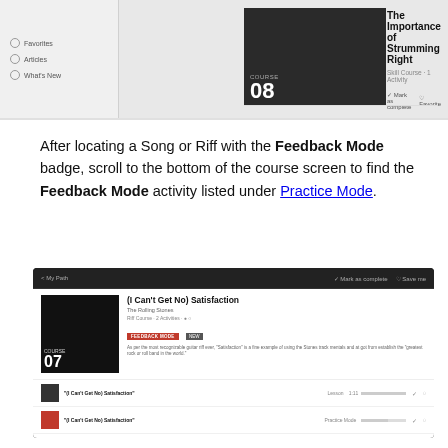[Figure (screenshot): Screenshot of course listing showing 'The Importance of Strumming Right' course 08 with sidebar navigation items Favorites, Articles, What's New]
After locating a Song or Riff with the Feedback Mode badge, scroll to the bottom of the course screen to find the Feedback Mode activity listed under Practice Mode.
[Figure (screenshot): Screenshot of course page for '(I Can't Get No) Satisfaction' by The Rolling Stones, Course 07, showing three activity list items including Lesson, Practice Mode, and Feedback Mode with arrow pointing to Feedback Mode item]